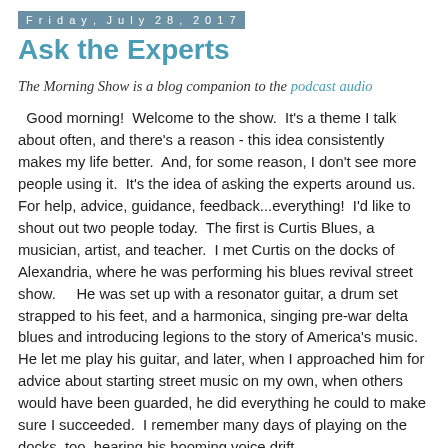Friday, July 28, 2017
Ask the Experts
The Morning Show is a blog companion to the podcast audio
Good morning!  Welcome to the show.  It's a theme I talk about often, and there's a reason - this idea consistently makes my life better.  And, for some reason, I don't see more people using it.  It's the idea of asking the experts around us.  For help, advice, guidance, feedback...everything!  I'd like to shout out two people today.  The first is Curtis Blues, a musician, artist, and teacher.  I met Curtis on the docks of Alexandria, where he was performing his blues revival street show.    He was set up with a resonator guitar, a drum set strapped to his feet, and a harmonica, singing pre-war delta blues and introducing legions to the story of America's music.  He let me play his guitar, and later, when I approached him for advice about starting street music on my own, when others would have been guarded, he did everything he could to make sure I succeeded.  I remember many days of playing on the docks, too, hearing his booming voice drift